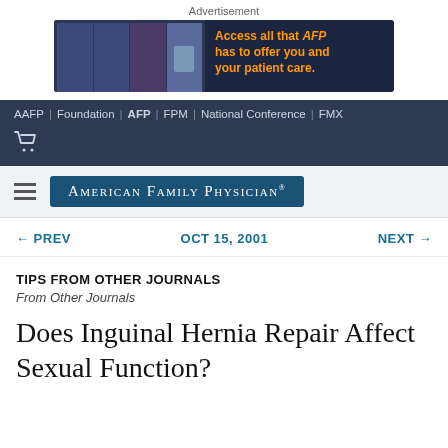Advertisement
[Figure (screenshot): AFP advertisement banner: Access all that AFP has to offer you and your patient care.]
AAFP | Foundation | AFP | FPM | National Conference | FMX
[Figure (logo): American Family Physician logo with hamburger menu]
← PREV    OCT 15, 2001    NEXT →
TIPS FROM OTHER JOURNALS
From Other Journals
Does Inguinal Hernia Repair Affect Sexual Function?